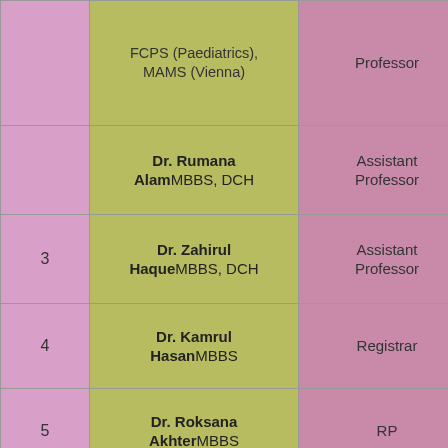| # | Name & Qualification | Designation |
| --- | --- | --- |
|  | FCPS (Paediatrics), MAMS (Vienna) | Professor |
|  | Dr. Rumana AlamMBBS, DCH | Assistant Professor |
| 3 | Dr. Zahirul HaqueMBBS, DCH | Assistant Professor |
| 4 | Dr. Kamrul HasanMBBS | Registrar |
| 5 | Dr. Roksana AkhterMBBS | RP |
| 6 | Dr. Hazera AkterMBBS | Assistant Registrar |
| 7 | Dr. Liza SabrinaMBBS | Assistant |